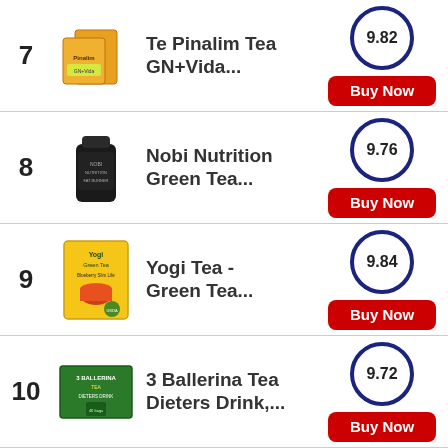7. Te Pinalim Tea GN+Vida... — Score: 9.82 — Buy Now
8. Nobi Nutrition Green Tea... — Score: 9.76 — Buy Now
9. Yogi Tea - Green Tea... — Score: 9.84 — Buy Now
10. 3 Ballerina Tea Dieters Drink,... — Score: 9.72 — Buy Now